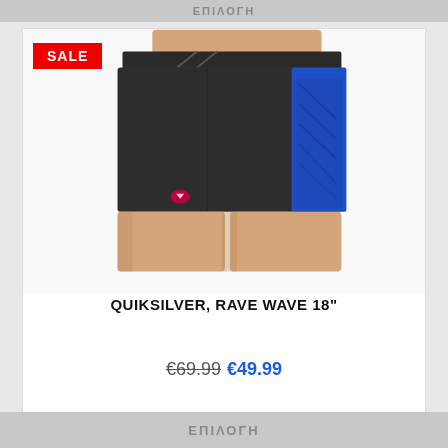ΕΠΙΛΟΓΗ
[Figure (photo): Person wearing dark charcoal/black boardshorts with a blue graphic stripe panel on the right side and Quiksilver logo. Product photo on white background.]
SALE
QUIKSILVER, RAVE WAVE 18"
€69.99 €49.99
ΕΠΙΛΟΓΗ